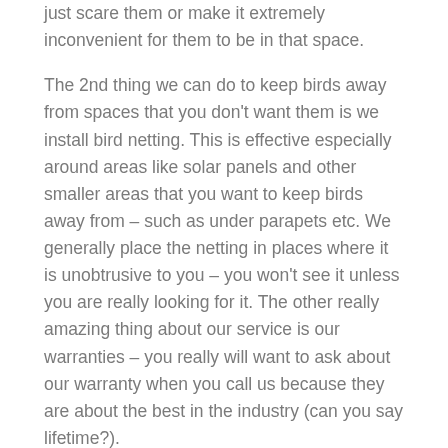just scare them or make it extremely inconvenient for them to be in that space.
The 2nd thing we can do to keep birds away from spaces that you don't want them is we install bird netting. This is effective especially around areas like solar panels and other smaller areas that you want to keep birds away from – such as under parapets etc. We generally place the netting in places where it is unobtrusive to you – you won't see it unless you are really looking for it. The other really amazing thing about our service is our warranties – you really will want to ask about our warranty when you call us because they are about the best in the industry (can you say lifetime?).
What else do we do with birds? Sometimes we will have to move them to keep them away from your environment. However, we NEVER exterminate birds or otherwise displace them into areas that they will